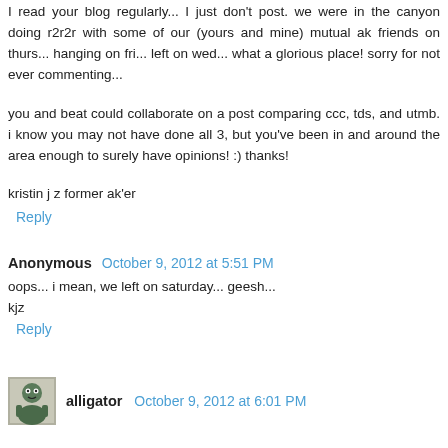I read your blog regularly... I just don't post. we were in the canyon doing r2r2r with some of our (yours and mine) mutual ak friends on thurs... hanging on fri... left on wed... what a glorious place! sorry for not ever commenting...
you and beat could collaborate on a post comparing ccc, tds, and utmb. i know you may not have done all 3, but you've been in and around the area enough to surely have opinions! :) thanks!
kristin j z former ak'er
Reply
Anonymous  October 9, 2012 at 5:51 PM
oops... i mean, we left on saturday... geesh...
kjz
Reply
alligator  October 9, 2012 at 6:01 PM